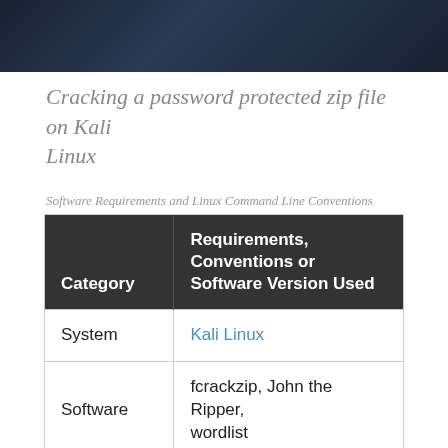[Figure (screenshot): Dark blue/black screenshot of a terminal or graphical interface, watermarked]
Cracking a password protected zip file on Kali Linux
Software Requirements and Linux Command Line Conventions
| Category | Requirements, Conventions or Software Version Used |
| --- | --- |
| System | Kali Linux |
| Software | fcrackzip, John the Ripper, wordlist |
| Other | Privileged access to your Linux system as root or via the sudo command. |